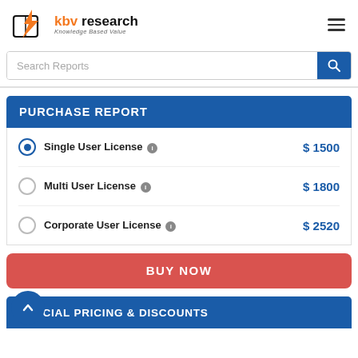[Figure (logo): KBV Research logo with orange lightning bolt and book icon, text 'kbv research' in black and orange, tagline 'Knowledge Based Value']
Search Reports
PURCHASE REPORT
Single User License  $ 1500
Multi User License  $ 1800
Corporate User License  $ 2520
BUY NOW
SPECIAL PRICING & DISCOUNTS